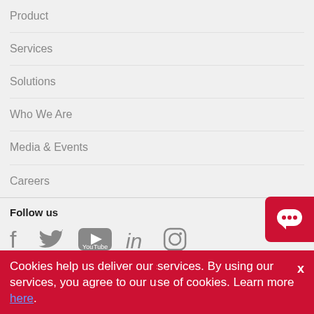Product
Services
Solutions
Who We Are
Media & Events
Careers
Follow us
[Figure (infographic): Social media icons: Facebook, Twitter, YouTube, LinkedIn, Instagram]
Subscribe for latest company updates and communication
Subscribe
Cookies help us deliver our services. By using our services, you agree to our use of cookies. Learn more here.